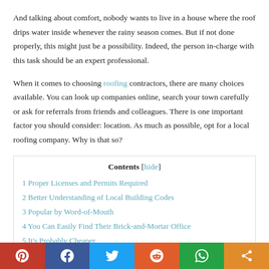And talking about comfort, nobody wants to live in a house where the roof drips water inside whenever the rainy season comes. But if not done properly, this might just be a possibility. Indeed, the person in-charge with this task should be an expert professional.
When it comes to choosing roofing contractors, there are many choices available. You can look up companies online, search your town carefully or ask for referrals from friends and colleagues. There is one important factor you should consider: location. As much as possible, opt for a local roofing company. Why is that so?
| Contents [hide] |
| 1 Proper Licenses and Permits Required |
| 2 Better Understanding of Local Building Codes |
| 3 Popular by Word-of-Mouth |
| 4 You Can Easily Find Their Brick-and-Mortar Office |
| 5 It's Probably Cheaper |
Pinterest | Facebook | Twitter | Reddit | WhatsApp | Share